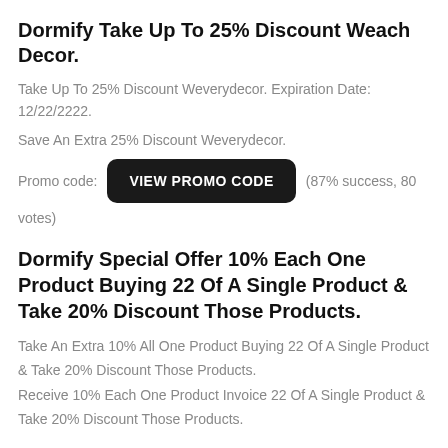Dormify Take Up To 25% Discount Weach Decor.
Take Up To 25% Discount Weverydecor. Expiration Date: 12/22/2222.
Save An Extra 25% Discount Weverydecor.
Promo code: VIEW PROMO CODE (87% success, 80 votes)
Dormify Special Offer 10% Each One Product Buying 22 Of A Single Product & Take 20% Discount Those Products.
Take An Extra 10% All One Product Buying 22 Of A Single Product & Take 20% Discount Those Products.
Receive 10% Each One Product Invoice 22 Of A Single Product & Take 20% Discount Those Products.